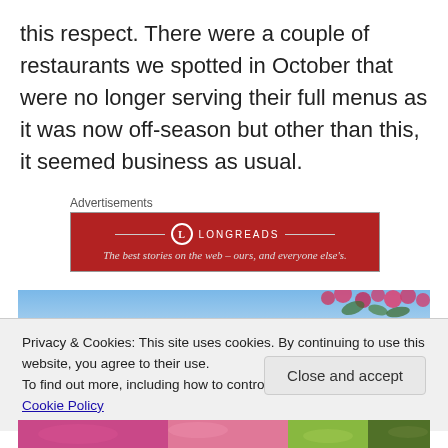this respect. There were a couple of restaurants we spotted in October that were no longer serving their full menus as it was now off-season but other than this, it seemed business as usual.
Advertisements
[Figure (other): Longreads advertisement banner: red background with logo circle containing 'L', text 'LONGREADS' and tagline 'The best stories on the web – ours, and everyone else's.']
[Figure (photo): Partial photo strip showing blue sky and pink flowering plants (bougainvillea).]
Privacy & Cookies: This site uses cookies. By continuing to use this website, you agree to their use.
To find out more, including how to control cookies, see here: Cookie Policy
Close and accept
[Figure (photo): Bottom strip of a photo showing colorful flowers and foliage.]